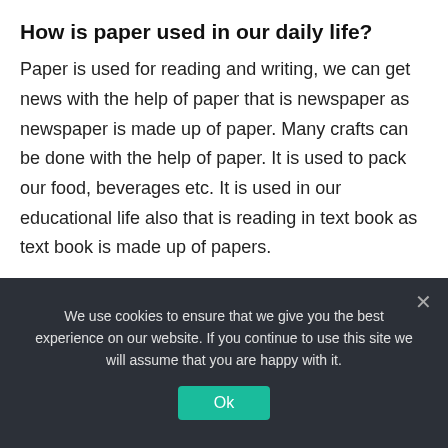How is paper used in our daily life?
Paper is used for reading and writing, we can get news with the help of paper that is newspaper as newspaper is made up of paper. Many crafts can be done with the help of paper. It is used to pack our food, beverages etc. It is used in our educational life also that is reading in text book as text book is made up of papers.
Why was the invention of paper so important?
Paper is an important invention because it replaced
We use cookies to ensure that we give you the best experience on our website. If you continue to use this site we will assume that you are happy with it.